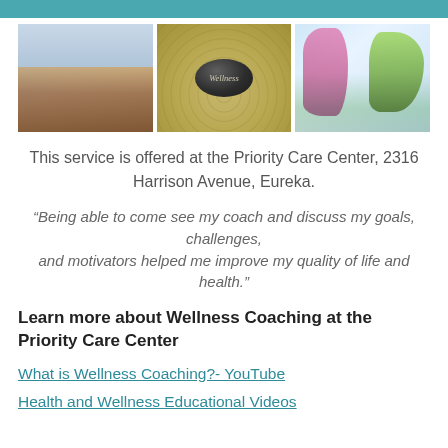[Figure (photo): Three-panel photo strip: left panel shows hands joined together in a team gesture, center panel shows a black wellness stone on sand with concentric ring patterns with the word 'Wellness' written on it, right panel shows two people exercising/stretching outdoors.]
This service is offered at the Priority Care Center, 2316 Harrison Avenue, Eureka.
“Being able to come see my coach and discuss my goals, challenges, and motivators helped me improve my quality of life and health.”
Learn more about Wellness Coaching at the Priority Care Center
What is Wellness Coaching?- YouTube
Health and Wellness Educational Videos